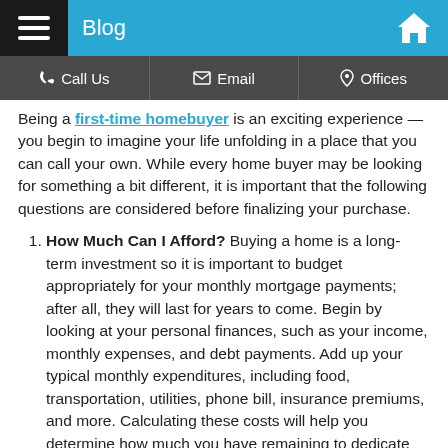Blog
Being a first-time homebuyer is an exciting experience — you begin to imagine your life unfolding in a place that you can call your own. While every home buyer may be looking for something a bit different, it is important that the following questions are considered before finalizing your purchase.
How Much Can I Afford? Buying a home is a long-term investment so it is important to budget appropriately for your monthly mortgage payments; after all, they will last for years to come. Begin by looking at your personal finances, such as your income, monthly expenses, and debt payments. Add up your typical monthly expenditures, including food, transportation, utilities, phone bill, insurance premiums, and more. Calculating these costs will help you determine how much you have remaining to dedicate towards your mortgage.